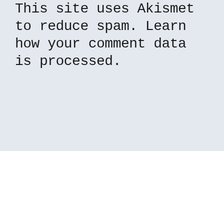This site uses Akismet to reduce spam. Learn how your comment data is processed.
[Figure (logo): Admin Hero logo with stylized text 'Admin Hero' in bold small-caps and a superhero character illustration with red cape]
A WordPress.com Website.